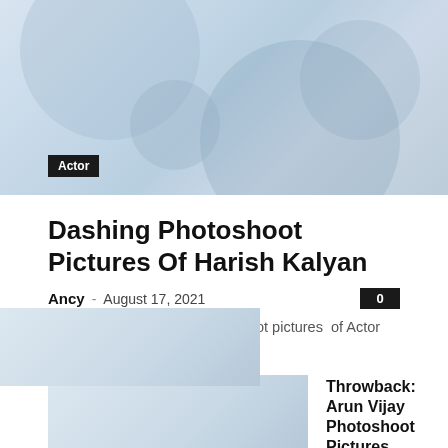[Figure (photo): Blurred/faded photo of a person, likely Harish Kalyan, in a photoshoot setting]
Actor
Dashing Photoshoot Pictures Of Harish Kalyan
Ancy - August 17, 2021   0
Check out the dashing photoshoot pictures  of Actor Harish Kalyan
[Figure (photo): Thumbnail image for Throwback: Arun Vijay Photoshoot Pictures article]
Throwback: Arun Vijay Photoshoot Pictures
Actor   December 22, 2020
[Figure (photo): Thumbnail image for Throwback: Mahat Raghavendra Photoshoot Pictures article]
Throwback: Mahat Raghavendra Photoshoot Pictures
Actor